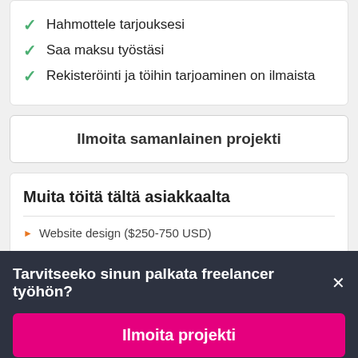Hahmottele tarjouksesi
Saa maksu työstäsi
Rekisteröinti ja töihin tarjoaminen on ilmaista
Ilmoita samanlainen projekti
Muita töitä tältä asiakkaalta
Website design ($250-750 USD)
Tarvitseeko sinun palkata freelancer työhön?
Ilmoita projekti